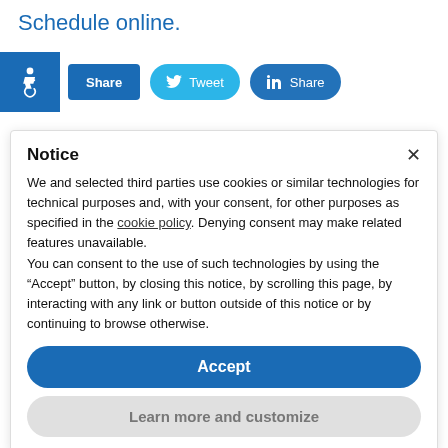Schedule online.
[Figure (screenshot): Accessibility wheelchair icon (white on blue background) and social share buttons: Share (Facebook-style), Tweet (Twitter), Share (LinkedIn)]
Notice
We and selected third parties use cookies or similar technologies for technical purposes and, with your consent, for other purposes as specified in the cookie policy. Denying consent may make related features unavailable.
You can consent to the use of such technologies by using the "Accept" button, by closing this notice, by scrolling this page, by interacting with any link or button outside of this notice or by continuing to browse otherwise.
Accept
Learn more and customize